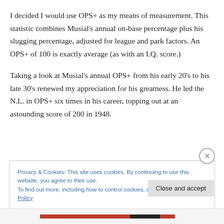I decided I would use OPS+ as my means of measurement.  This statistic combines Musial's annual on-base percentage plus his slugging percentage, adjusted for league and park factors.  An OPS+ of 100 is exactly average (as with an I.Q. score.)
Taking a look at Musial's annual OPS+ from his early 20's to his late 30's renewed my appreciation for his greatness.  He led the N.L. in OPS+ six times in his career, topping out at an astounding score of 200 in 1948.
Privacy & Cookies: This site uses cookies. By continuing to use this website, you agree to their use.
To find out more, including how to control cookies, see here: Cookie Policy